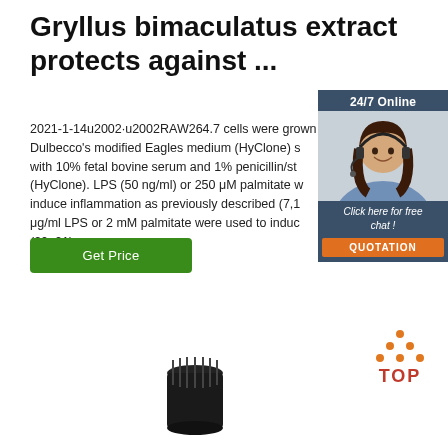Gryllus bimaculatus extract protects against ...
2021-1-14u2002·u2002RAW264.7 cells were grown in Dulbecco's modified Eagles medium (HyClone) supplemented with 10% fetal bovine serum and 1% penicillin/streptomycin (HyClone). LPS (50 ng/ml) or 250 μM palmitate were used to induce inflammation as previously described (7,1 μg/ml LPS or 2 mM palmitate were used to induce (20, 21).
[Figure (other): Green 'Get Price' button]
[Figure (other): 24/7 Online chat widget with photo of woman wearing headset, 'Click here for free chat!' text, and orange QUOTATION button]
[Figure (other): TOP navigation icon with orange dots arranged in triangle and red TOP text]
[Figure (other): Product bottle cap visible at bottom center of page]